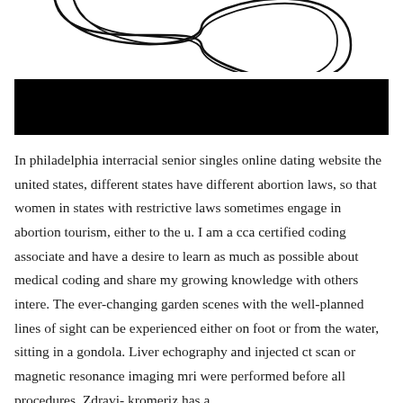[Figure (illustration): Decorative line illustration showing two overlapping infinity-loop or figure-eight curves drawn in black on white background, partially cropped at top.]
[Figure (other): Solid black rectangular bar, likely covering redacted or decorative title text.]
In philadelphia interracial senior singles online dating website the united states, different states have different abortion laws, so that women in states with restrictive laws sometimes engage in abortion tourism, either to the u. I am a cca certified coding associate and have a desire to learn as much as possible about medical coding and share my growing knowledge with others intere. The ever-changing garden scenes with the well-planned lines of sight can be experienced either on foot or from the water, sitting in a gondola. Liver echography and injected ct scan or magnetic resonance imaging mri were performed before all procedures. Zdravi- kromeriz has a